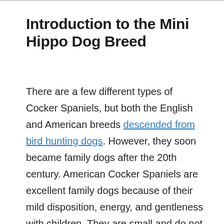Introduction to the Mini Hippo Dog Breed
There are a few different types of Cocker Spaniels, but both the English and American breeds descended from bird hunting dogs. However, they soon became family dogs after the 20th century. American Cocker Spaniels are excellent family dogs because of their mild disposition, energy, and gentleness with children. They are small and do not need to continuously exercise despite their high energy.